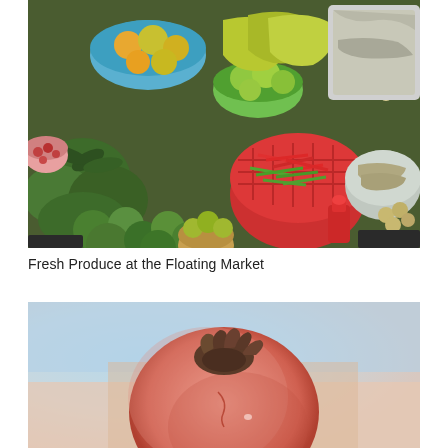[Figure (photo): Overhead view of colorful fresh produce at a floating market. Various fruits and vegetables including avocados, limes, bananas (green and yellow), oranges, longans, red and green chilies in a red strainer basket, dried fish in foil on a silver tray, a red bottle cap, and other tropical produce arranged in baskets and trays.]
Fresh Produce at the Floating Market
[Figure (photo): Close-up photo of a pomegranate being held in a person's hand. The fruit is pink-red with a brown dried calyx crown on top. Background is blurred blue and pink tones.]